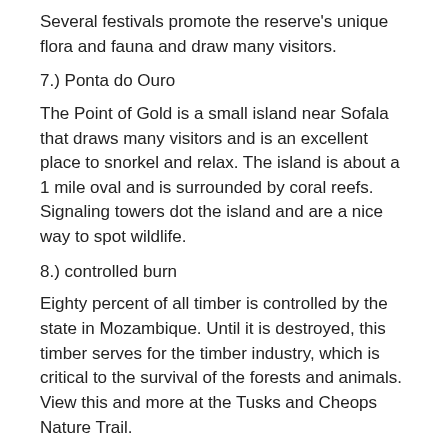Several festivals promote the reserve's unique flora and fauna and draw many visitors.
7.) Ponta do Ouro
The Point of Gold is a small island near Sofala that draws many visitors and is an excellent place to snorkel and relax. The island is about a 1 mile oval and is surrounded by coral reefs. Signaling towers dot the island and are a nice way to spot wildlife.
8.) controlled burn
Eighty percent of all timber is controlled by the state in Mozambique. Until it is destroyed, this timber serves for the timber industry, which is critical to the survival of the forests and animals. View this and more at the Tusks and Cheops Nature Trail.
9.) Comercie Olive Oil
The mechanical digger that opened in 1912 is the pride of any trip to this country. The world-class diving and snorkeling tours features people getting their noses into the smell of the virgin olive oil. The town of Esaiatu makes